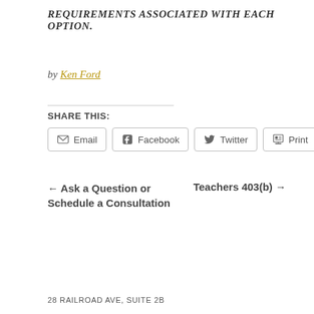REQUIREMENTS ASSOCIATED WITH EACH OPTION.
by Ken Ford
SHARE THIS:
Email  Facebook  Twitter  Print
← Ask a Question or Schedule a Consultation
Teachers 403(b) →
28 RAILROAD AVE, SUITE 2B